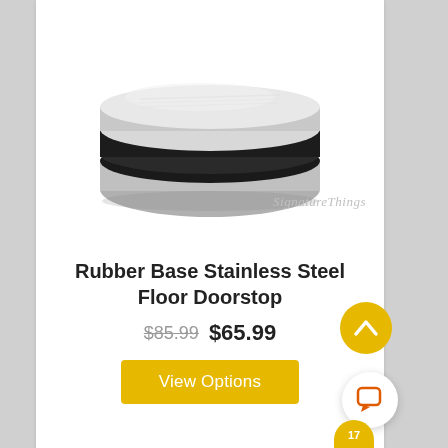[Figure (photo): Stainless steel round floor doorstop with black rubber base ring, viewed from above at a slight angle. Product shown on white background with SignatureThings watermark.]
Rubber Base Stainless Steel Floor Doorstop
$85.99  $65.99
View Options